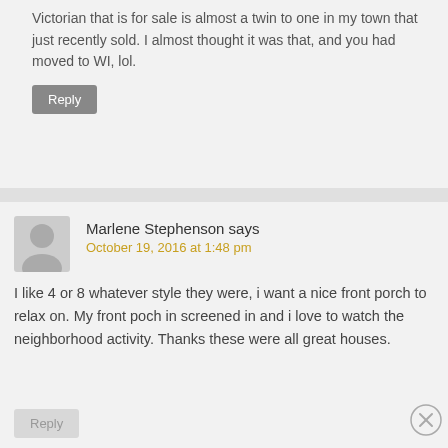Victorian that is for sale is almost a twin to one in my town that just recently sold. I almost thought it was that, and you had moved to WI, lol.
Reply
Marlene Stephenson says
October 19, 2016 at 1:48 pm
I like 4 or 8 whatever style they were, i want a nice front porch to relax on. My front poch in screened in and i love to watch the neighborhood activity. Thanks these were all great houses.
Reply